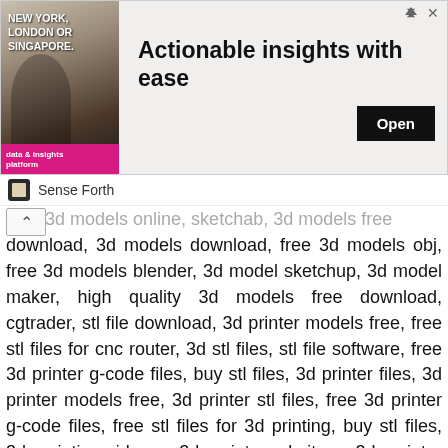[Figure (other): Advertisement banner for 'Sense Forth' with image of a man in suit, text 'NEW YORK, LONDON OR SINGAPORE.' and headline 'Actionable insights with ease' with an Open button]
yad, 3d models online, sketchab, 3d models free download, 3d models download, free 3d models obj, free 3d models blender, 3d model sketchup, 3d model maker, high quality 3d models free download, cgtrader, stl file download, 3d printer models free, free stl files for cnc router, 3d stl files, stl file software, free 3d printer g-code files, buy stl files, 3d printer files, 3d printer models free, 3d printer stl files, free 3d printer g-code files, free stl files for 3d printing, buy stl files, 3d printing ideas, 3d print websites, 3d printer software, evangelion 3d model, evangelion 3d google, evangelion 3d model free, eva 01 stl, eva 01 3d model, evangelion stl, thingiverse evangelion, eva 02 3d model, artcam 3d relief files free download, artcam 3d model free download, artcam 3d door designs free download, cnc router 3d models free download, artcam 2d files free